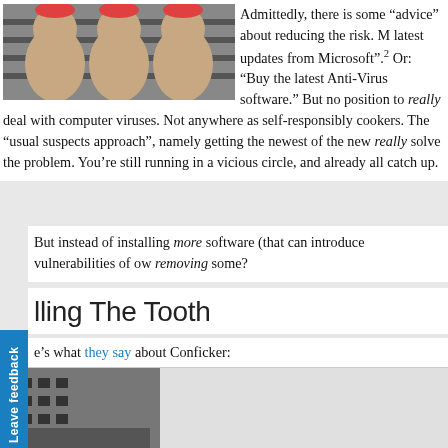[Figure (photo): Cartoon characters (three figures resembling criminals or 'usual suspects') against striped background]
Admittedly, there is some “advice” about reducing the risk. M latest updates from Microsoft”.2 Or: “Buy the latest Anti-Virus software.” But no position to really deal with computer viruses. Not anywhere as self-responsibly cookers. The “usual suspects approach”, namely getting the newest of the new really solve the problem. You’re still running in a vicious circle, and already all catch up.
But instead of installing more software (that can introduce vulnerabilities of ow removing some?
lling The Tooth
e’s what they say about Conficker:
[Figure (illustration): Circular quotation mark icon in gray]
The Conficker worm’s main exploit vector is by buffer overflowing unp services, which is represented by the Workstation and Server services,
[Figure (photo): Black and white photo of a building exterior]